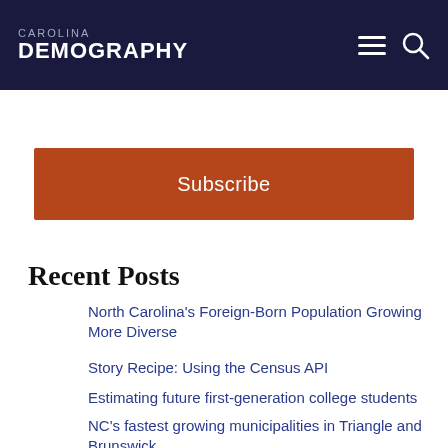CAROLINA DEMOGRAPHY
Subscribe
Recent Posts
North Carolina's Foreign-Born Population Growing More Diverse
Story Recipe: Using the Census API
Estimating future first-generation college students
NC's fastest growing municipalities in Triangle and Brunswick
Story Recipe: How to access commuting data